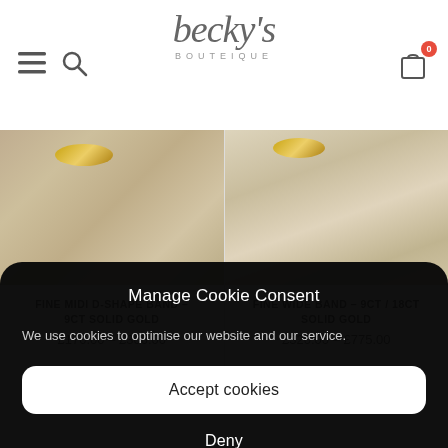[Figure (screenshot): Becky's Boutique website header with hamburger menu, search icon, script logo, and shopping cart with badge showing 0]
[Figure (photo): Close-up of beige/gold fabric texture with gold ring visible at top]
FINE MIDI D-SHAPE BAND – 9CT SOLID GOLD
£170.00 – £300.00
[Figure (photo): Close-up of cream/beige silky fabric with gold ring visible at top]
FINE WIDE BAND – 9CT / 18CT SOLID GOLD
£320.00 – £775.00
Manage Cookie Consent
We use cookies to optimise our website and our service.
Accept cookies
Deny